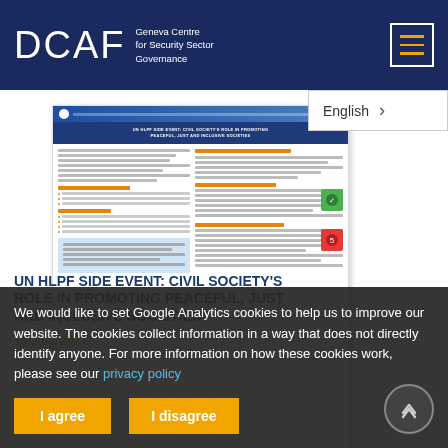DCAF — Geneva Centre for Security Sector Governance
[Figure (screenshot): Preview/thumbnail of a document titled 'UN HLPF SIDE EVENT: CIVIL SOCIETY'S ROLE IN PROMOTING PEACEFUL, JUST AND INCLUSIVE SOCIETIES' with two-column layout, orange section headers, SDG icons, and a blue highlighted quote box at the bottom.]
We would like to set Google Analytics cookies to help us to improve our website. The cookies collect information in a way that does not directly identify anyone. For more information on how these cookies work, please see our privacy policy
I agree
I disagree
UN HLPF SIDE EVENT: CIVIL SOCIETY'S ROLE IN PROMOTING PEACEFUL, JUST AND INCLUSIVE SOCIETIES
13 July, 2021